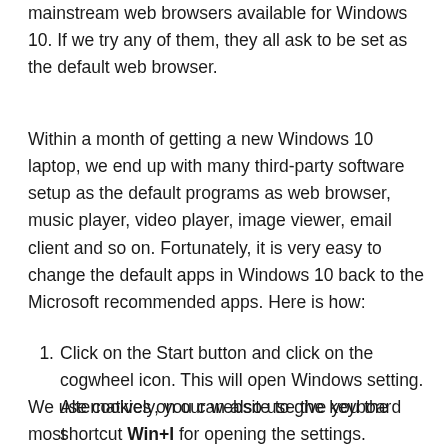mainstream web browsers available for Windows 10. If we try any of them, they all ask to be set as the default web browser.
Within a month of getting a new Windows 10 laptop, we end up with many third-party software setup as the default programs as web browser, music player, video player, image viewer, email client and so on. Fortunately, it is very easy to change the default apps in Windows 10 back to the Microsoft recommended apps. Here is how:
Click on the Start button and click on the cogwheel icon. This will open Windows setting. Alternatively, you can also use the keyboard shortcut Win+I for opening the settings.
In the Windows settings, first select Apps and then
We use cookies on our website to give you the most